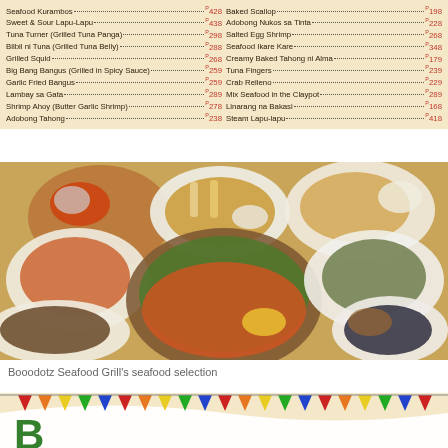| Item | Price | Item | Price |
| --- | --- | --- | --- |
| Seafood Kurambos | ₱428 | Baked Scallop | ₱198 |
| Sweet & Sour Lapu-Lapu | ₱438 | Adobong Nukos sa Tinta | ₱228 |
| Tuna Turner (Grilled Tuna Panga) | ₱298 | Salted Egg Shrimp | ₱268 |
| Bilbil ni Tuna (Grilled Tuna Belly) | ₱288 | Seafood Ikare Kare | ₱348 |
| Grilled Squid | ₱268 | Creamy Baked Tahong ni Alma | ₱179 |
| Big Bang Bangus (Grilled in Spicy Sauce) | ₱259 | Tuna Fingers | ₱239 |
| Garlic Fried Bangus | ₱259 | Crab Relleno | ₱229 |
| Lambay sa Gata | ₱289 | Mix Seafood in the Claypot | ₱289 |
| Shrimp Ahoy (Butter Garlic Shrimp) | ₱278 | Linarang na Bakasi | ₱168 |
| Adobong Tahong | ₱238 | Steam Lapu-lapu | ₱418 |
[Figure (photo): Various Filipino seafood dishes arranged on plates and in bowls — grilled shrimp, fried fish, mussels, squid, and a large seafood platter with corn, displayed on a warm sandy-colored background.]
Booodotz Seafood Grill's seafood selection
[Figure (photo): Colorful triangular bunting flags (pennants) in red, orange, yellow, green, blue colors strung across the top of what appears to be a restaurant or party venue banner, with a large stylized 'B' letter partially visible at the bottom.]